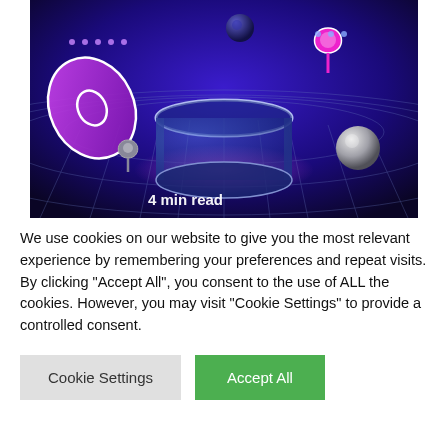[Figure (illustration): A futuristic 3D digital landscape with blue and purple tones, featuring hexagonal grid floor, a glowing cylindrical portal/chair shape in the center, a pink/magenta disc on the left, pink location pin markers, a metallic sphere on the right, dark blue background with geometric shapes. Text overlay reads '4 min read' with a location pin icon in the lower left.]
We use cookies on our website to give you the most relevant experience by remembering your preferences and repeat visits. By clicking "Accept All", you consent to the use of ALL the cookies. However, you may visit "Cookie Settings" to provide a controlled consent.